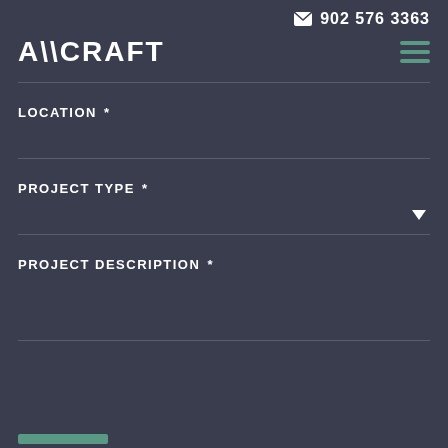902 576 3363
A\\CRAFT
LOCATION *
PROJECT TYPE *
PROJECT DESCRIPTION *